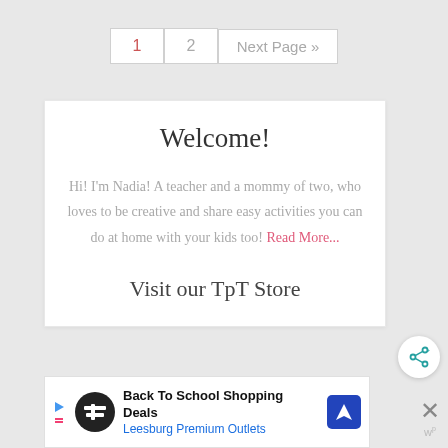1   2   Next Page »
Welcome!
Hi! I'm Nadia! A teacher and a mommy of two, who loves to be creative and share easy activities you can do at home with your kids too! Read More...
Visit our TpT Store
[Figure (other): Share button icon (teal share/network icon) in a circular white button]
[Figure (other): Advertisement banner: Back To School Shopping Deals - Leesburg Premium Outlets, with logo, navigation icon, close X button, and W superscript label]